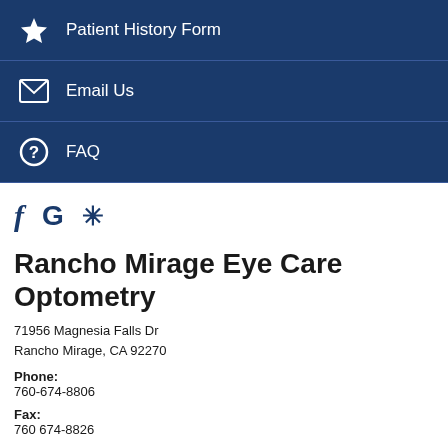Patient History Form
Email Us
FAQ
[Figure (logo): Social media icons: Facebook (f), Google (G), Yelp (stylized asterisk)]
Rancho Mirage Eye Care Optometry
71956 Magnesia Falls Dr
Rancho Mirage, CA 92270
Phone:
760-674-8806
Fax:
760 674-8826
Email:
customerservice@evanseyecare.com